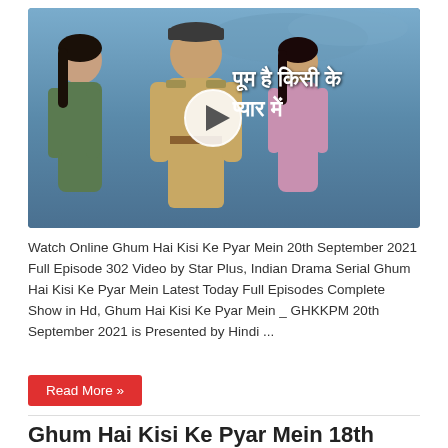[Figure (screenshot): Thumbnail image for Indian drama serial Ghum Hai Kisi Ke Pyar Mein showing actors in police uniform and two women against a blue sky background, with Hindi text and a play button overlay]
Watch Online Ghum Hai Kisi Ke Pyar Mein 20th September 2021 Full Episode 302 Video by Star Plus, Indian Drama Serial Ghum Hai Kisi Ke Pyar Mein Latest Today Full Episodes Complete Show in Hd, Ghum Hai Kisi Ke Pyar Mein _ GHKKPM 20th September 2021 is Presented by Hindi ...
Read More »
Ghum Hai Kisi Ke Pyar Mein 18th September